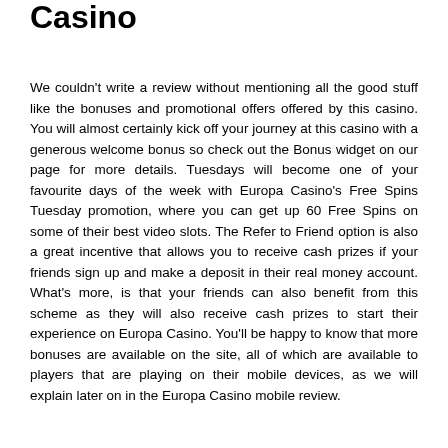Casino
We couldn't write a review without mentioning all the good stuff like the bonuses and promotional offers offered by this casino. You will almost certainly kick off your journey at this casino with a generous welcome bonus so check out the Bonus widget on our page for more details. Tuesdays will become one of your favourite days of the week with Europa Casino's Free Spins Tuesday promotion, where you can get up 60 Free Spins on some of their best video slots. The Refer to Friend option is also a great incentive that allows you to receive cash prizes if your friends sign up and make a deposit in their real money account. What's more, is that your friends can also benefit from this scheme as they will also receive cash prizes to start their experience on Europa Casino. You'll be happy to know that more bonuses are available on the site, all of which are available to players that are playing on their mobile devices, as we will explain later on in the Europa Casino mobile review.